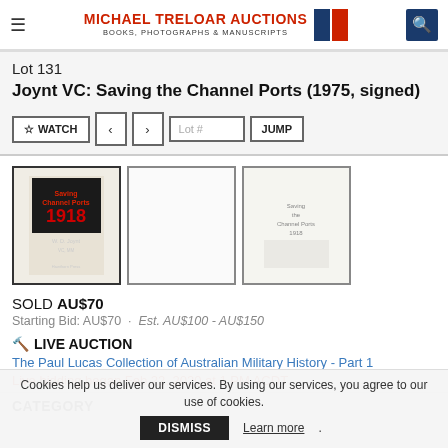MICHAEL TRELOAR AUCTIONS BOOKS, PHOTOGRAPHS & MANUSCRIPTS
Lot 131
Joynt VC: Saving the Channel Ports (1975, signed)
[Figure (screenshot): Three thumbnail images of the book: front cover showing '1918' in red text, one blank/white thumbnail, and one showing title page text]
SOLD AU$70
Starting Bid: AU$70 · Est. AU$100 - AU$150
🔨 LIVE AUCTION
The Paul Lucas Collection of Australian Military History - Part 1
Live bidding began Feb 22, 2020 at 1 PM ACDT
CATEGORY
Cookies help us deliver our services. By using our services, you agree to our use of cookies. DISMISS Learn more.